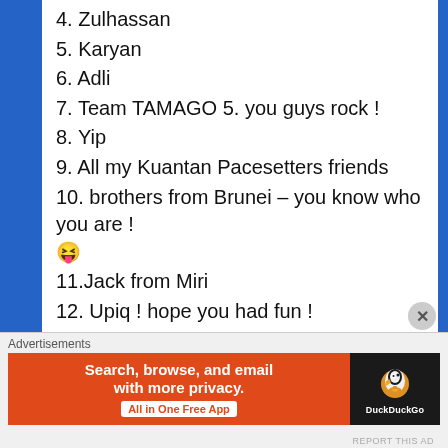4. Zulhassan
5. Karyan
6. Adli
7. Team TAMAGO 5. you guys rock !
8. Yip
9. All my Kuantan Pacesetters friends
10. brothers from Brunei – you know who you are ! 😝
11.Jack from Miri
12. Upiq ! hope you had fun !
13. Zabil Ihram Zainol, congrats dude !
14. Shahrom , Ah Thiam Razani, Major and rest of the Team Elite members
15. Lydia Tan – congrats girl ! u sorang je in ur age group! kelam...
[Figure (infographic): DuckDuckGo advertisement banner: orange left section with text 'Search, browse, and email with more privacy. All in One Free App', black right section with DuckDuckGo duck logo and brand name.]